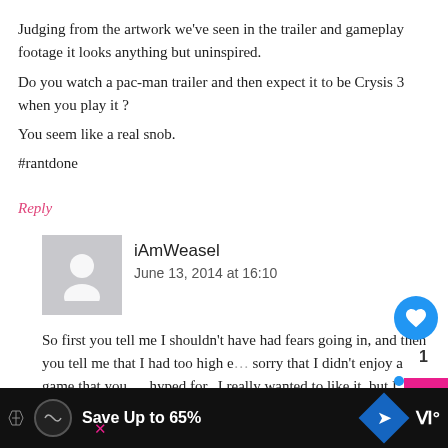Judging from the artwork we've seen in the trailer and gameplay footage it looks anything but uninspired.
Do you watch a pac-man trailer and then expect it to be Crysis 3 when you play it ?
You seem like a real snob.
#rantdone
Reply
iAmWeasel
June 13, 2014 at 16:10
So first you tell me I shouldn't have had fears going in, and then you tell me that I had too high e... sorry that I didn't enjoy a game that you... hyped for.. I really wanted to like it, but I thought it was
Save Up to 65%